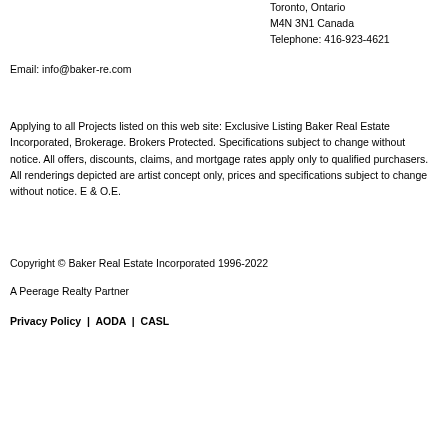Toronto, Ontario M4N 3N1 Canada Telephone: 416-923-4621
Email: info@baker-re.com
Applying to all Projects listed on this web site: Exclusive Listing Baker Real Estate Incorporated, Brokerage. Brokers Protected. Specifications subject to change without notice. All offers, discounts, claims, and mortgage rates apply only to qualified purchasers. All renderings depicted are artist concept only, prices and specifications subject to change without notice. E & O.E.
Copyright © Baker Real Estate Incorporated 1996-2022
A Peerage Realty Partner
Privacy Policy  |  AODA  |  CASL